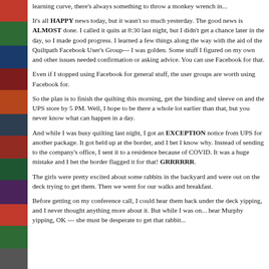[Figure (photo): Vertical sidebar with colored quilt block images on the left side of the page]
learning curve, there's always something to throw a monkey wrench in...
It's all HAPPY news today, but it wasn't so much yesterday. The good news is ALMOST done. I called it quits at 8:30 last night, but I didn't get a chance later in the day, so I made good progress. I learned a few things along the way with the aid of the Quiltpath Facebook User's Group--- I was golden. Some stuff I figured on my own and other issues needed confirmation or asking advice. You can use Facebook for that.
Even if I stopped using Facebook for general stuff, the user groups are worth using Facebook for.
So the plan is to finish the quilting this morning, get the binding and sleeve on and the UPS store by 5 PM. Well, I hope to be there a whole lot earlier than that, but you never know what can happen in a day.
And while I was busy quilting last night, I got an EXCEPTION notice from UPS for another package. It got held up at the border, and I bet I know why. Instead of sending to the company's office, I sent it to a residence because of COVID. It was a huge mistake and I bet the border flagged it for that! GRRRRRR.
The girls were pretty excited about some rabbits in the backyard and were out on the deck trying to get them. Then we went for our walks and breakfast.
Before getting on my conference call, I could hear them back under the deck yipping, and I never thought anything more about it. But while I was on... hear Murphy yipping, OK --- she must be desperate to get that rabbit...